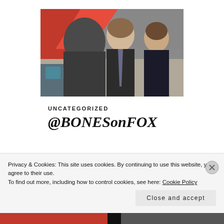[Figure (photo): Three people in a scene: a man in a suit with a tie facing another man from behind, and a woman with crossed arms watching. Background has orange/red and grey elements.]
UNCATEGORIZED
@BONESonFOX
Privacy & Cookies: This site uses cookies. By continuing to use this website, you agree to their use.
To find out more, including how to control cookies, see here: Cookie Policy
Close and accept